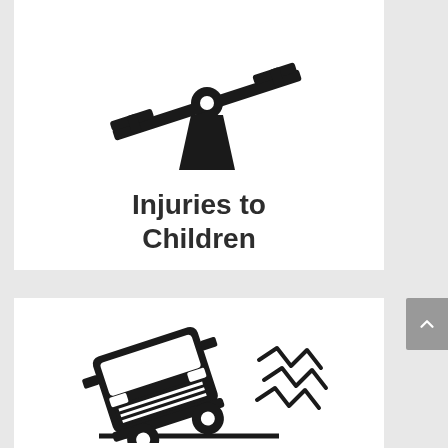[Figure (illustration): Black and white icon of a seesaw/playground equipment tilted to the right, with T-shaped handles on each end and a teardrop-shaped fulcrum in the center]
Injuries to Children
[Figure (illustration): Black and white icon of a truck/SUV tilted forward as if going over a bump or rough terrain, with zigzag lines to the right suggesting impact or vibration]